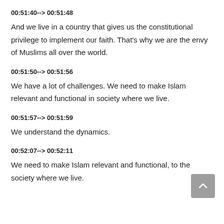00:51:40--> 00:51:48
And we live in a country that gives us the constitutional privilege to implement our faith. That's why we are the envy of Muslims all over the world.
00:51:50--> 00:51:56
We have a lot of challenges. We need to make Islam relevant and functional in society where we live.
00:51:57--> 00:51:59
We understand the dynamics.
00:52:07--> 00:52:11
We need to make Islam relevant and functional, to the society where we live.